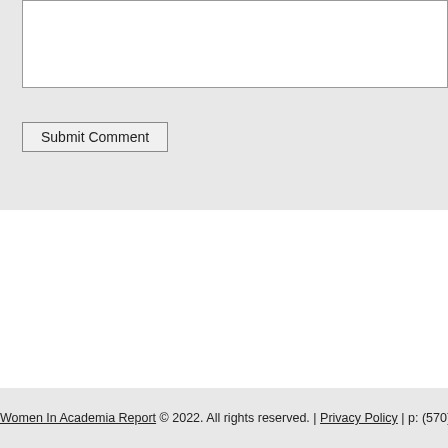[Figure (screenshot): A text area input field (white box with border) at the top of the page, partially cropped, on a light grey background.]
Submit Comment
Women In Academia Report © 2022. All rights reserved. | Privacy Policy | p: (570) 392-6797 | e: contact